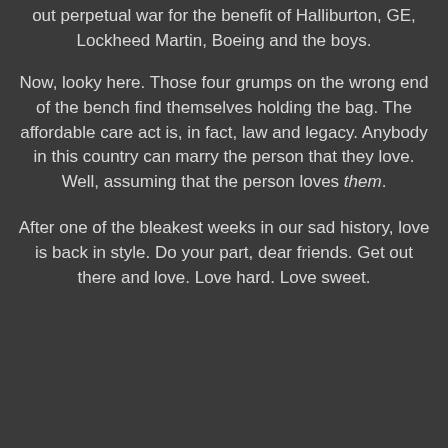out perpetual war for the benefit of Halliburton, GE, Lockheed Martin, Boeing and the boys.
Now, looky here. Those four grumps on the wrong end of the bench find themselves holding the bag. The affordable care act is, in fact, law and legacy. Anybody in this country can marry the person that they love. Well, assuming that the person loves them.
After one of the bleakest weeks in our sad history, love is back in style. Do your part, dear friends. Get out there and love. Love hard. Love sweet.